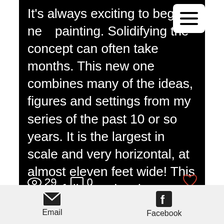It's always exciting to begin a new painting. Solidifying the concept can often take months. This new one combines many of the ideas, figures and settings from my series of the past 10 or so years. It is the largest in scale and very horizontal, at almost eleven feet wide! This is the full-size drawing on canvas, pinned to my studio wall. Before finalizing the sketch, I created a 12" x 12" oil painting on a wood panel of the masked figure on the left, just the head, to see ho
29   0
Email   Facebook